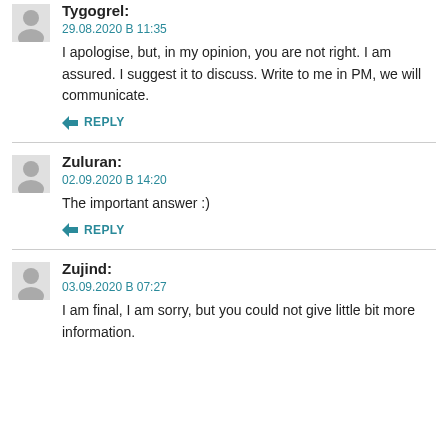Tygogrel:
29.08.2020 В 11:35
I apologise, but, in my opinion, you are not right. I am assured. I suggest it to discuss. Write to me in PM, we will communicate.
REPLY
Zuluran:
02.09.2020 В 14:20
The important answer :)
REPLY
Zujind:
03.09.2020 В 07:27
I am final, I am sorry, but you could not give little bit more information.